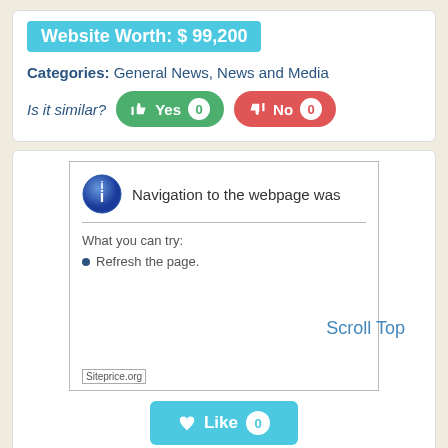Website Worth: $ 99,200
Categories: General News, News and Media
Is it similar? Yes 0  No 0
[Figure (screenshot): Screenshot of a browser error page showing 'Navigation to the webpage was' with 'What you can try: Refresh the page.' message, with siteprice.org watermark]
Scroll Top
Like 0
chinanews.com